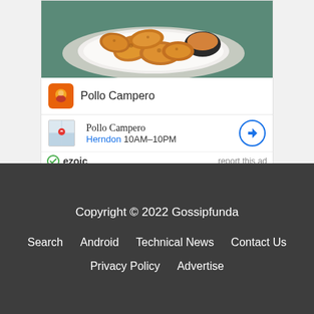[Figure (photo): Photo of fried chicken nuggets on a white plate with dipping sauce, served on a cloth napkin on a teal/green table surface]
Pollo Campero
Pollo Campero
Herndon 10AM–10PM
ezoic  report this ad
Copyright © 2022 Gossipfunda
Search  Android  Technical News  Contact Us
Privacy Policy  Advertise